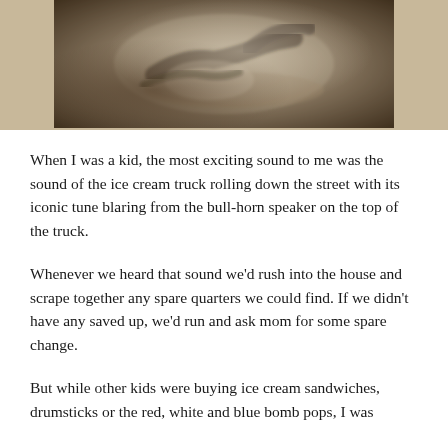[Figure (photo): A vintage sepia-toned photograph of a baseball player sliding into base, placed on a textured beige/tan carpet background]
When I was a kid, the most exciting sound to me was the sound of the ice cream truck rolling down the street with its iconic tune blaring from the bull-horn speaker on the top of the truck.
Whenever we heard that sound we'd rush into the house and scrape together any spare quarters we could find. If we didn't have any saved up, we'd run and ask mom for some spare change.
But while other kids were buying ice cream sandwiches, drumsticks or the red, white and blue bomb pops, I was buying cards of baseball cards...